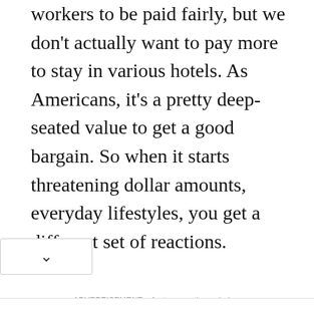workers to be paid fairly, but we don't actually want to pay more to stay in various hotels. As Americans, it's a pretty deep-seated value to get a good bargain. So when it starts threatening dollar amounts, everyday lifestyles, you get a different set of reactions.
ADVERTISEMENT – feature continues below
[Figure (other): Advertisement area placeholder with partial image visible and a chevron/collapse button at the bottom]